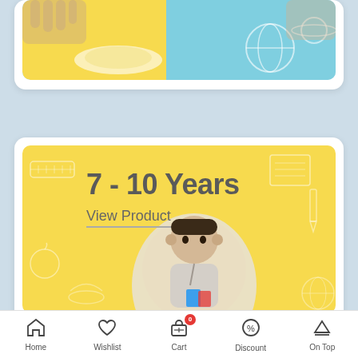[Figure (illustration): Top card with colorful educational illustration showing yellow and teal background with school-themed doodles, partially visible]
[Figure (illustration): Product card with yellow background, age category '7-10 Years', View Product link, and photo of a child studying]
7 - 10 Years
View Product
Home  Wishlist  Cart  Discount  On Top